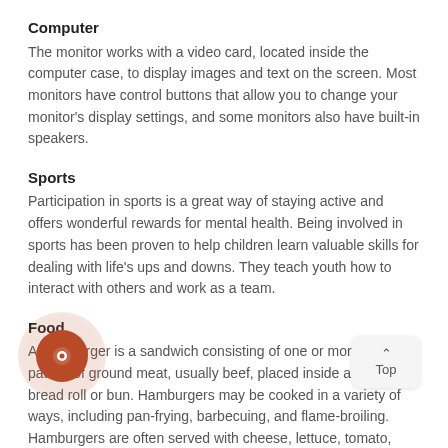Computer
The monitor works with a video card, located inside the computer case, to display images and text on the screen. Most monitors have control buttons that allow you to change your monitor's display settings, and some monitors also have built-in speakers.
Sports
Participation in sports is a great way of staying active and offers wonderful rewards for mental health. Being involved in sports has been proven to help children learn valuable skills for dealing with life's ups and downs. They teach youth how to interact with others and work as a team.
Food
A Hamburger is a sandwich consisting of one or more cooked patties of ground meat, usually beef, placed inside a sliced bread roll or bun. Hamburgers may be cooked in a variety of ways, including pan-frying, barbecuing, and flame-broiling. Hamburgers are often served with cheese, lettuce, tomato, bacon, onion, pickles, and condiments such as mustard, mayonnaise, ketchup, relish.